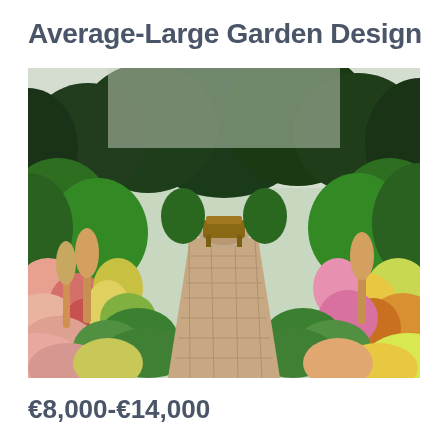Average-Large Garden Design
[Figure (photo): A lush garden with a central brick pathway leading to a wooden bench, flanked by colorful flowering plants and tall green trees in the background.]
€8,000-€14,000